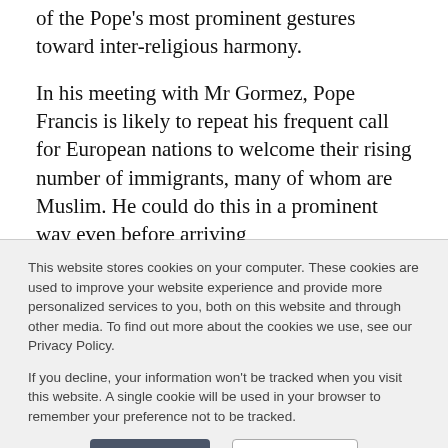of the Pope's most prominent gestures toward inter-religious harmony.

In his meeting with Mr Gormez, Pope Francis is likely to repeat his frequent call for European nations to welcome their rising number of immigrants, many of whom are Muslim. He could do this in a prominent way even before arriving
This website stores cookies on your computer. These cookies are used to improve your website experience and provide more personalized services to you, both on this website and through other media. To find out more about the cookies we use, see our Privacy Policy.

If you decline, your information won't be tracked when you visit this website. A single cookie will be used in your browser to remember your preference not to be tracked.